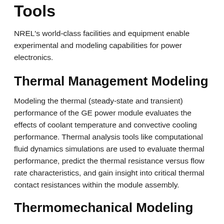Tools
NREL's world-class facilities and equipment enable experimental and modeling capabilities for power electronics.
Thermal Management Modeling
Modeling the thermal (steady-state and transient) performance of the GE power module evaluates the effects of coolant temperature and convective cooling performance. Thermal analysis tools like computational fluid dynamics simulations are used to evaluate thermal performance, predict the thermal resistance versus flow rate characteristics, and gain insight into critical thermal contact resistances within the module assembly.
Thermomechanical Modeling
Modeling of stress, strain, and strain energy density within